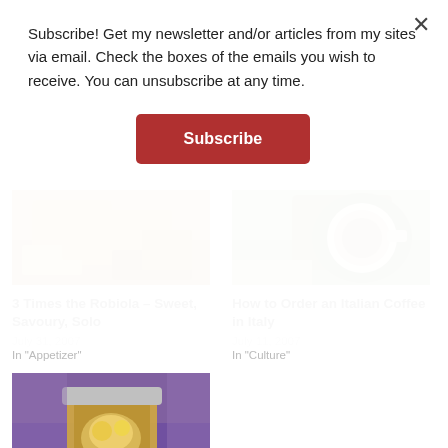Subscribe! Get my newsletter and/or articles from my sites via email. Check the boxes of the emails you wish to receive. You can unsubscribe at any time.
Subscribe
[Figure (photo): Food photo - baked/fried food on a plate, top-left article]
3 Times the Robiola – Sweet, Savoury, Solo
July 31, 2007
In "Appetizer"
[Figure (photo): Food photo - coffee cup from above, top-right article]
How to Order an Italian Coffee in Italy
July 11, 2007
In "Culture"
[Figure (photo): Food photo - pickled eggplant in jar with purple background]
Pickled Eggplant under Oil –